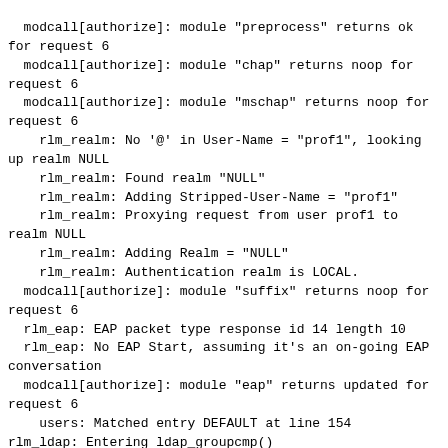modcall[authorize]: module "preprocess" returns ok for request 6
  modcall[authorize]: module "chap" returns noop for request 6
  modcall[authorize]: module "mschap" returns noop for request 6
    rlm_realm: No '@' in User-Name = "prof1", looking up realm NULL
    rlm_realm: Found realm "NULL"
    rlm_realm: Adding Stripped-User-Name = "prof1"
    rlm_realm: Proxying request from user prof1 to realm NULL
    rlm_realm: Adding Realm = "NULL"
    rlm_realm: Authentication realm is LOCAL.
  modcall[authorize]: module "suffix" returns noop for request 6
  rlm_eap: EAP packet type response id 14 length 10
  rlm_eap: No EAP Start, assuming it's an on-going EAP conversation
  modcall[authorize]: module "eap" returns updated for request 6
    users: Matched entry DEFAULT at line 154
rlm_ldap: Entering ldap_groupcmp()
radius_xlat:  'ou=mydepartment,dc=mydomain,dc=it'
radius_xlat:  '(uid=prof1)'
rlm_ldap: ldap_get_conn: Checking Id: 0
rlm_ldap: ldap_get_conn: Got Id: 0
rlm_ldap: performing search in
ou=mydepartment,dc=mydomain,dc=it, with
filter (uid=prof1)